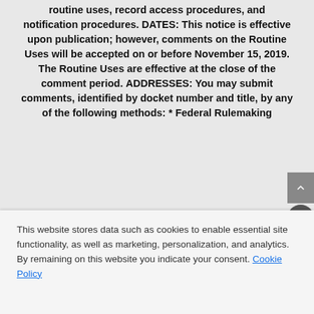routine uses, record access procedures, and notification procedures. DATES: This notice is effective upon publication; however, comments on the Routine Uses will be accepted on or before November 15, 2019. The Routine Uses are effective at the close of the comment period. ADDRESSES: You may submit comments, identified by docket number and title, by any of the following methods: * Federal Rulemaking
This website stores data such as cookies to enable essential site functionality, as well as marketing, personalization, and analytics. By remaining on this website you indicate your consent. Cookie Policy